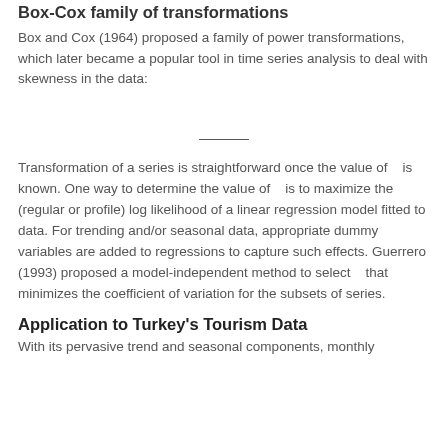Box-Cox family of transformations
Box and Cox (1964) proposed a family of power transformations, which later became a popular tool in time series analysis to deal with skewness in the data:
Transformation of a series is straightforward once the value of λ is known. One way to determine the value of λ is to maximize the (regular or profile) log likelihood of a linear regression model fitted to data. For trending and/or seasonal data, appropriate dummy variables are added to regressions to capture such effects. Guerrero (1993) proposed a model-independent method to select λ that minimizes the coefficient of variation for the subsets of series.
Application to Turkey's Tourism Data
With its pervasive trend and seasonal components, monthly